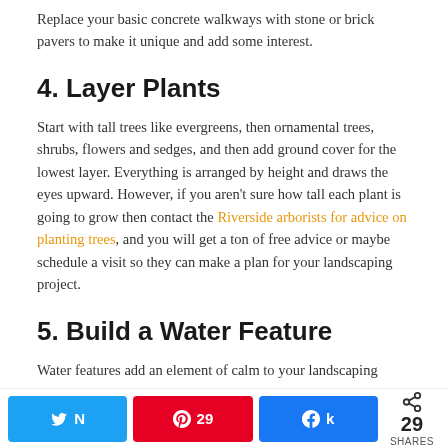Replace your basic concrete walkways with stone or brick pavers to make it unique and add some interest.
4. Layer Plants
Start with tall trees like evergreens, then ornamental trees, shrubs, flowers and sedges, and then add ground cover for the lowest layer. Everything is arranged by height and draws the eyes upward. However, if you aren't sure how tall each plant is going to grow then contact the Riverside arborists for advice on planting trees, and you will get a ton of free advice or maybe schedule a visit so they can make a plan for your landscaping project.
5. Build a Water Feature
Water features add an element of calm to your landscaping
29 SHARES